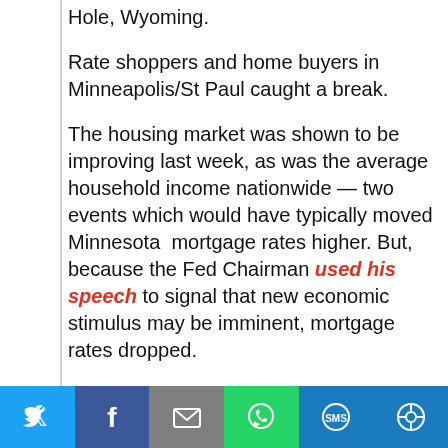Hole, Wyoming.
Rate shoppers and home buyers in Minneapolis/St Paul caught a break.
The housing market was shown to be improving last week, as was the average household income nationwide — two events which would have typically moved Minnesota mortgage rates higher. But, because the Fed Chairman used his speech to signal that new economic stimulus may be imminent, mortgage rates dropped.
The Fed is expected to launch a bond-buying program that would create new demand for
[Figure (infographic): Social sharing bar with icons for Twitter, Facebook, Email, WhatsApp, SMS, and another share option on colored backgrounds]